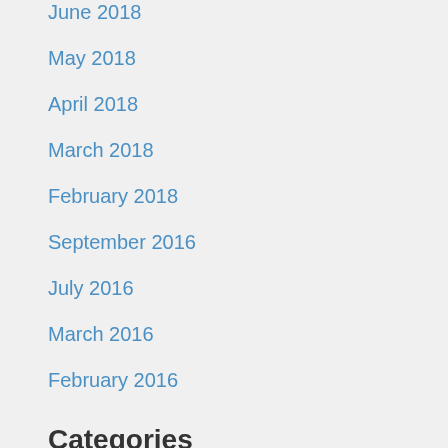June 2018
May 2018
April 2018
March 2018
February 2018
September 2016
July 2016
March 2016
February 2016
Categories
Select Category
Meta